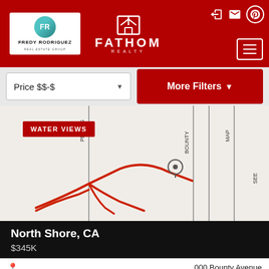Fathom Realty – Fredy Rodriguez Real Estate Group
Price $$-$
More Filters
[Figure (map): Street map showing property location with red road markings and vertical street name labels. A location pin marker is visible in the center area.]
WATER VIEWS
North Shore, CA
$345K
000 Bounty Avenue